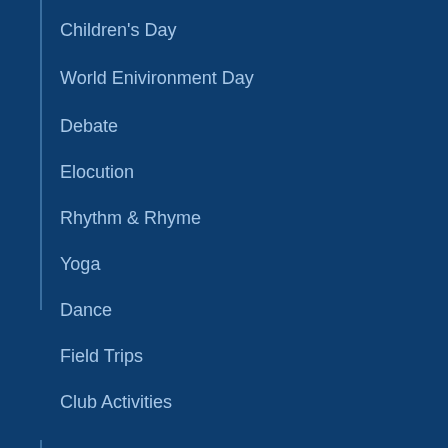Children's Day
World Enivironment Day
Debate
Elocution
Rhythm & Rhyme
Yoga
Dance
Field Trips
Club Activities
PARENTS
Academic Calander
List of Holidays
Magazine